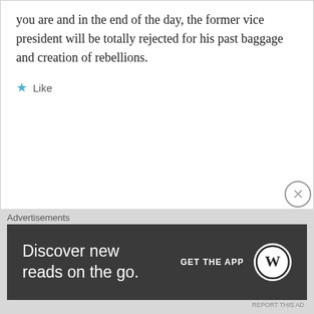you are and in the end of the day, the former vice president will be totally rejected for his past baggage and creation of rebellions.
Like
Reply
GatNor
May 18, 2015 at 8:41 pm
I notice you are the same idiot with many disguises. What happened in Juba during a dust to dawn curfew. Why don't you tell us as you narrated
Advertisements
Discover new reads on the go.
GET THE APP